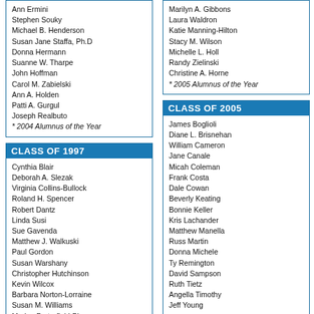Ann Ermini
Stephen Souky
Michael B. Henderson
Susan Jane Staffa, Ph.D
Donna Hermann
Suanne W. Tharpe
John Hoffman
Carol M. Zabielski
Ann A. Holden
Patti A. Gurgul
Joseph Realbuto
* 2004 Alumnus of the Year
CLASS OF 1997
Cynthia Blair
Deborah A. Slezak
Virginia Collins-Bullock
Roland H. Spencer
Robert Dantz
Linda Susi
Sue Gavenda
Matthew J. Walkuski
Paul Gordon
Susan Warshany
Christopher Hutchinson
Kevin Wilcox
Barbara Norton-Lorraine
Susan M. Williams
Marion Porterfield-Pierce
George Wise
Lynn Roughley-Young
Rosemary A. Castelli
Bart A. Roselli
Scott Russell
Verna Zapp
CLASS OF 1998
Marilyn A. Gibbons
Laura Waldron
Katie Manning-Hilton
Stacy M. Wilson
Michelle L. Holl
Randy Zielinski
Christine A. Horne
* 2005 Alumnus of the Year
CLASS OF 2005
James Boglioli
Diane L. Brisnehan
William Cameron
Jane Canale
Micah Coleman
Frank Costa
Dale Cowan
Beverly Keating
Bonnie Keller
Kris Lachander
Matthew Manella
Russ Martin
Donna Michele
Ty Remington
David Sampson
Ruth Tietz
Angella Timothy
Jeff Young
CLASS OF 2006
Shane Bargy
Susan Bobinsky
Peter Boeri
Chal Davidson
Crystal Doolity